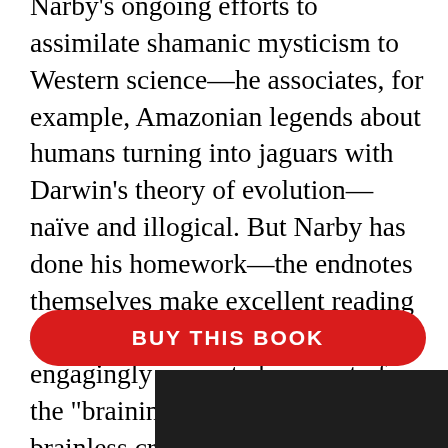Narby's ongoing efforts to assimilate shamanic mysticism to Western science—he associates, for example, Amazonian legends about humans turning into jaguars with Darwin's theory of evolution—naïve and illogical. But Narby has done his homework—the endnotes themselves make excellent reading—and his well-researched and engagingly presented account of the "braininess" of even literally brainless creatures raises fascinating questions about the boundaries between man and nature. Agent, Barbara Moulton. (Mar. 3)
[Figure (other): Two UI buttons: a rounded rectangle labeled DETAILS and a rounded rectangle with a share icon]
BUY THIS BOOK